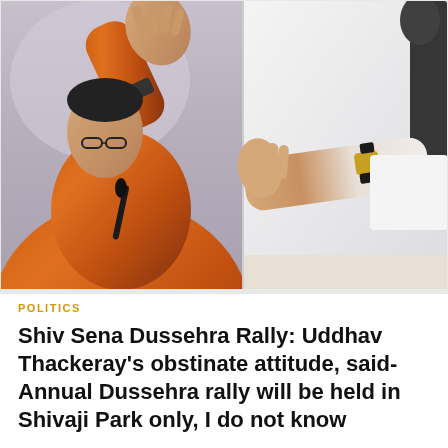[Figure (photo): Two side-by-side photos: left shows a man in an orange jacket raising his hand near a microphone, with glasses visible on his face; right shows a hand and arm with a gold watch and white sleeve making a gesture.]
POLITICS
Shiv Sena Dussehra Rally: Uddhav Thackeray's obstinate attitude, said- Annual Dussehra rally will be held in Shivaji Park only, I do not know